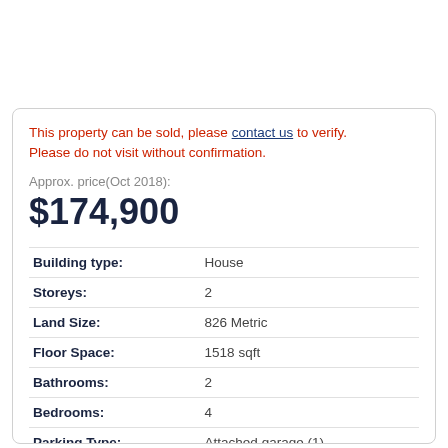This property can be sold, please contact us to verify. Please do not visit without confirmation.
Approx. price(Oct 2018):
$174,900
| Property | Value |
| --- | --- |
| Building type: | House |
| Storeys: | 2 |
| Land Size: | 826 Metric |
| Floor Space: | 1518 sqft |
| Bathrooms: | 2 |
| Bedrooms: | 4 |
| Parking Type: | Attached garage (1) |
| Amenities Nearby: | Golf Course, Public Transit, Shopping |
| Heating Type / Fuel: | Forced air, (Oil) |